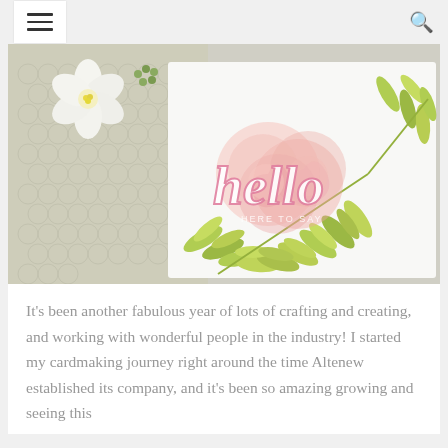☰ [menu] [search]
[Figure (photo): A decorative handmade greeting card featuring watercolor roses in pink and peach tones with green leaf sprays and a 'hello' die-cut sentiment, displayed on a crocheted lace background with white flowers.]
It's been another fabulous year of lots of crafting and creating, and working with wonderful people in the industry! I started my cardmaking journey right around the time Altenew established its company, and it's been so amazing growing and seeing this